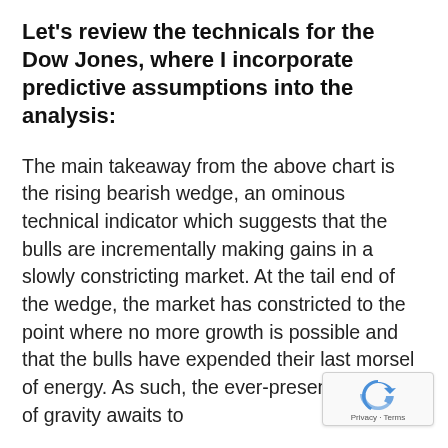Let's review the technicals for the Dow Jones, where I incorporate predictive assumptions into the analysis:
The main takeaway from the above chart is the rising bearish wedge, an ominous technical indicator which suggests that the bulls are incrementally making gains in a slowly constricting market. At the tail end of the wedge, the market has constricted to the point where no more growth is possible and that the bulls have expended their last morsel of energy. As such, the ever-present mistress of gravity awaits to